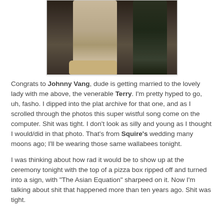[Figure (photo): Photo of two people standing together, showing lower body. One person wearing khaki/tan pants and wallabee shoes, the other in dark pants. Indoor setting with dark wood floor.]
Congrats to Johnny Vang, dude is getting married to the lovely lady with me above, the venerable Terry. I'm pretty hyped to go, uh, fasho. I dipped into the plat archive for that one, and as I scrolled through the photos this super wistful song come on the computer. Shit was tight. I don't look as silly and young as I thought I would/did in that photo. That's from Squire's wedding many moons ago; I'll be wearing those same wallabees tonight.
I was thinking about how rad it would be to show up at the ceremony tonight with the top of a pizza box ripped off and turned into a sign, with "The Asian Equation" sharpeed on it. Now I'm talking about shit that happened more than ten years ago. Shit was tight.